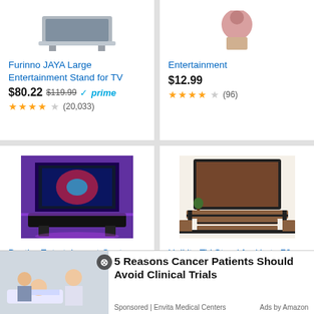[Figure (photo): Furinno JAYA entertainment stand product image, top portion visible]
Furinno JAYA Large Entertainment Stand for TV
$80.22 $119.99 prime (20,033)
[Figure (photo): Entertainment product image, person shown upside down]
Entertainment
$12.99 (96)
[Figure (photo): Bestier Entertainment Center gaming TV stand with purple LED lighting]
Bestier Entertainment Center, Gaming TV Stand for
$149.99 (290)
[Figure (photo): Unikito TV Stand for up to 70 inch TV, industrial rustic style with black metal frame]
Unikito TV Stand for Up to 70 Inch TV, Two-Color
$139.99 prime (65)
[Figure (photo): Ad image showing elderly patient with doctor]
5 Reasons Cancer Patients Should Avoid Clinical Trials
Sponsored | Envita Medical Centers   Ads by Amazon